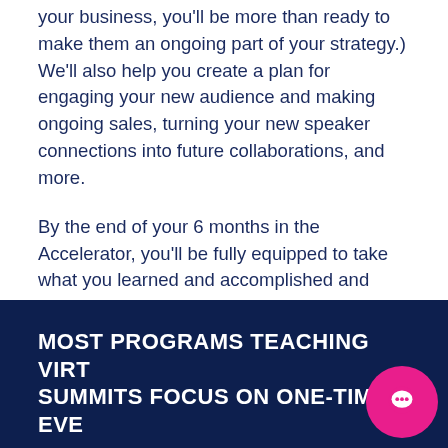your business, you'll be more than ready to make them an ongoing part of your strategy.) We'll also help you create a plan for engaging your new audience and making ongoing sales, turning your new speaker connections into future collaborations, and more.
By the end of your 6 months in the Accelerator, you'll be fully equipped to take what you learned and accomplished and continue building on your momentum for post-summit profits and future events that continue to create amazing results.
MOST PROGRAMS TEACHING VIRTUAL SUMMITS FOCUS ON ONE-TIME EVENTS